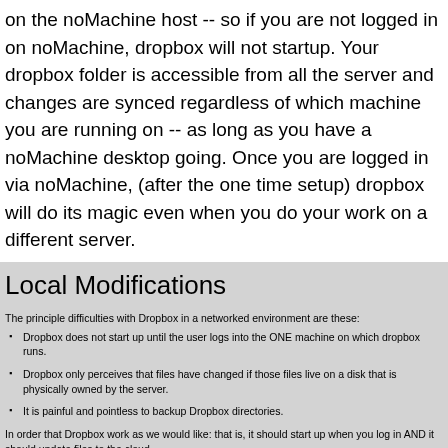on the noMachine host -- so if you are not logged in on noMachine, dropbox will not startup. Your dropbox folder is accessible from all the server and changes are synced regardless of which machine you are running on -- as long as you have a noMachine desktop going. Once you are logged in via noMachine, (after the one time setup) dropbox will do its magic even when you do your work on a different server.
Local Modifications
The principle difficulties with Dropbox in a networked environment are these:
Dropbox does not start up until the user logs into the ONE machine on which dropbox runs.
Dropbox only perceives that files have changed if those files live on a disk that is physically owned by the server.
It is painful and pointless to backup Dropbox directories.
In order that Dropbox work as we would like: that is, it should start up when you log in AND it should update files to the cloud regardless of how you modify them... We do the following:
we set up a special share for you called /data/DropboxD/<userid> which is physically owned by the noMachine server, quigley, but is shared to all other machines